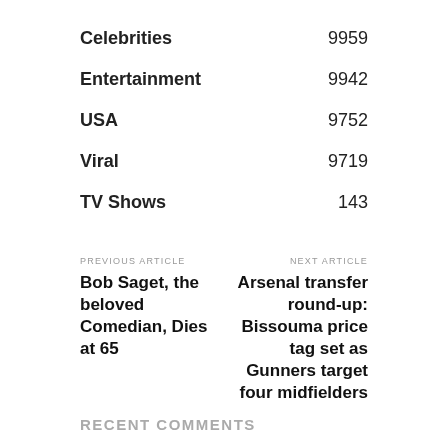Celebrities 9959
Entertainment 9942
USA 9752
Viral 9719
TV Shows 143
PREVIOUS ARTICLE
Bob Saget, the beloved Comedian, Dies at 65
NEXT ARTICLE
Arsenal transfer round-up: Bissouma price tag set as Gunners target four midfielders
RECENT COMMENTS